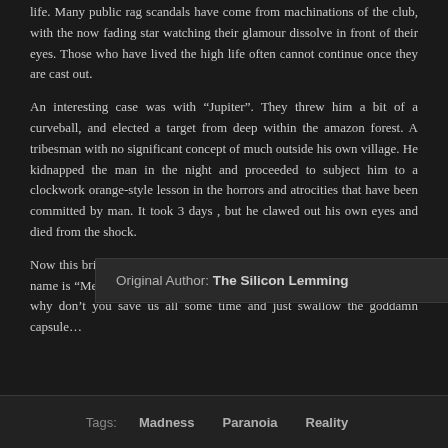life. Many public rag scandals have come from machinations of the club, with the now fading star watching their glamour dissolve in front of their eyes. Those who have lived the high life often cannot continue once they are cast out.
An interesting case was with "Jupiter". They threw him a bit of a curveball, and elected a target from deep within the amazon forest. A tribesman with no significant concept of much outside his own village. He kidnapped the man in the night and proceeded to subject him to a clockwork orange-style lesson in the horrors and atrocities that have been committed by man. It took 3 days , but he clawed out his own eyes and died from the shock.
Now this brings us to You. You have been selected as the next target. My name is “Mercury” and you are my target. Knowing what you know now, why don’t you save us all some time and just swallow the goddamn capsule…
Original Author: The Silicon Lemming
Tags: Madness  Paranoia  Reality